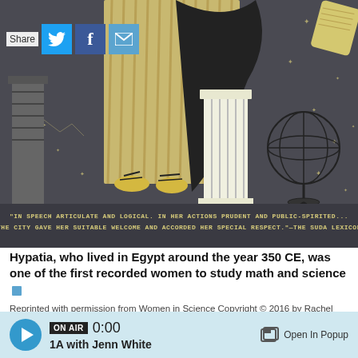[Figure (illustration): Illustration from 'Women in Science' showing Hypatia in ancient Egyptian style with stars, constellations, a column, celestial globe, and scrolls on a dark background. A quote in gold lettering at the bottom reads: 'IN SPEECH ARTICULATE AND LOGICAL. IN HER ACTIONS PRUDENT AND PUBLIC-SPIRITED... THE CITY GAVE HER SUITABLE WELCOME AND ACCORDED HER SPECIAL RESPECT.' -THE SUDA LEXICON]
Share
Hypatia, who lived in Egypt around the year 350 CE, was one of the first recorded women to study math and science
Reprinted with permission from Women in Science Copyright © 2016 by Rachel Ignotofsky. Published by Ten Speed Press, an imprint of Penguin Random House LLC
Finally, she asked her supervisor if attending one
ON AIR 0:00 1A with Jenn White Open In Popup